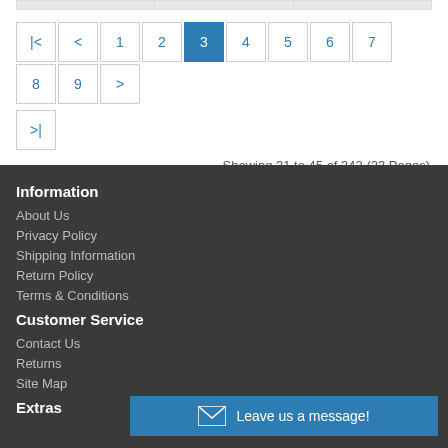Showing 31 to 45 of 342 (23 Pages)
Information
About Us
Privacy Policy
Shipping Information
Return Policy
Terms & Conditions
Customer Service
Contact Us
Returns
Site Map
Extras
Leave us a message!